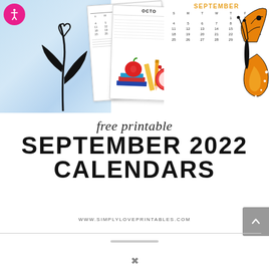[Figure (illustration): Collage of three September 2022 calendar styles: left panel shows blue watercolor background with black plant/leaf illustration, middle shows two overlapping calendar cards with school supplies (apple, books, ruler, alarm clock), right shows a clean September calendar grid with orange title and a monarch butterfly on the far right edge.]
free printable
SEPTEMBER 2022
CALENDARS
WWW.SIMPLYLOVEPRINTABLES.COM